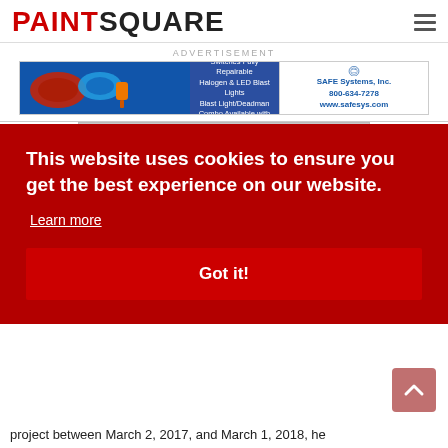PAINTSQUARE
ADVERTISEMENT
[Figure (photo): SAFE Systems Inc. banner advertisement for Endurogard Cable, Electric Deadman Switches Fully Repairable, Halogen & LED Blast Lights, Blast Light/Deadman Combo Available with Halogen or LED Blast Light. Phone: 800-634-7278, www.safesys.com]
[Figure (photo): Product image showing yellow and black equipment, edcostore.com info@edcostore.com]
ADVERTISEMENT
[Figure (screenshot): Blue bar advertisement - Towers | Amusement Park Rides | Structures]
This website uses cookies to ensure you get the best experience on our website.
Learn more
Got it!
project between March 2, 2017, and March 1, 2018, he